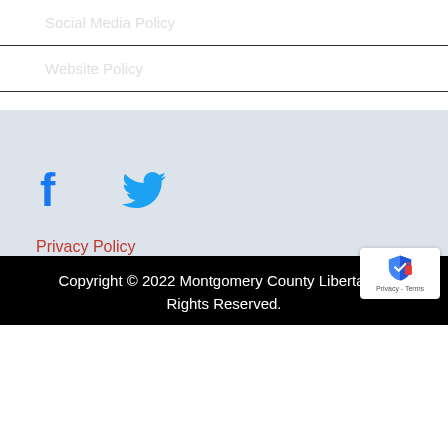Social Media Policy
Website Policy
[Figure (illustration): Facebook and Twitter social media icons in blue]
Privacy Policy
Copyright © 2022 Montgomery County Libertarian Rights Reserved.